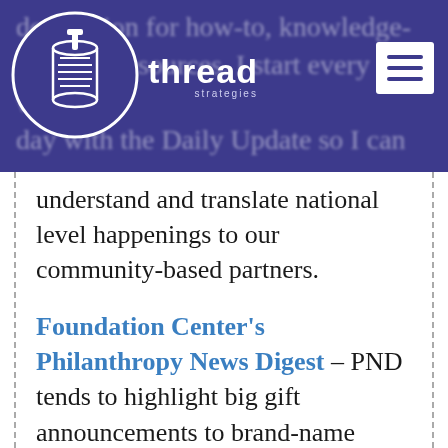thread strategies — navigation header with logo and hamburger menu
understand and translate national level happenings to our community-based partners.
Foundation Center's Philanthropy News Digest – PND tends to highlight big gift announcements to brand-name nonprofits and institutions of higher learning. Beyond making me drool over those gifts, PND is great for linking to recent research studies about fundraising and nonprofits.